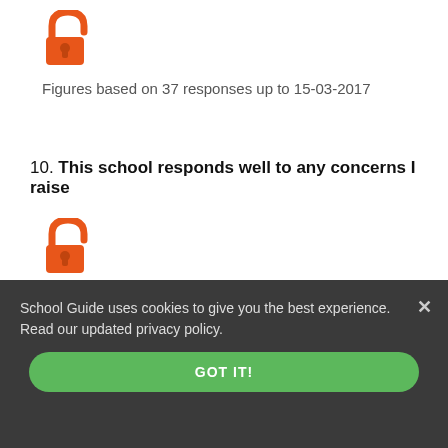[Figure (illustration): Orange unlocked padlock icon]
Figures based on 37 responses up to 15-03-2017
10. This school responds well to any concerns I raise
[Figure (illustration): Orange unlocked padlock icon]
Figures based on 37 responses up to 15-03-2017
School Guide uses cookies to give you the best experience. Read our updated privacy policy.
GOT IT!